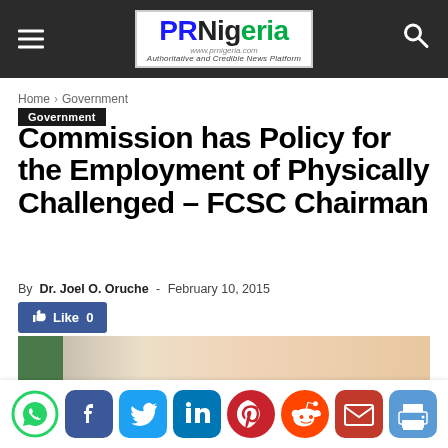PRNigeria — Authoritative and Credible News Platform
Home › Government
Government
Commission has Policy for the Employment of Physically Challenged – FCSC Chairman
By Dr. Joel O. Oruche - February 10, 2015
[Figure (photo): Article header photo showing a person]
[Figure (infographic): Social share buttons: WhatsApp, Facebook, Twitter, LinkedIn, Pinterest, Reddit, Email, Print]